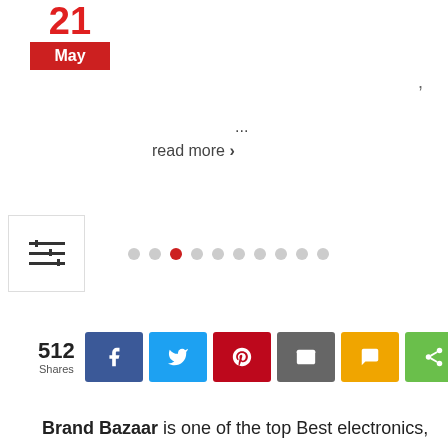[Figure (other): Calendar icon showing 21 May with red month bar]
,
...
read more >
[Figure (other): Filter/settings icon with horizontal lines]
[Figure (other): Carousel pagination dots, 10 dots with 3rd active (red)]
[Figure (other): Social share buttons row: 512 Shares, Facebook, Twitter, Pinterest, Email, SMS, Share]
Brand Bazaar is one of the top Best electronics, electric and home appliances brand with one of the largest trusted online shop and off Line shop. We have a large amount of satisfied customer under the banner of Brand Bazaar in Bangladesh. Brand Bazaar had entered into online business in 2013 nearly every aspect of modern life. The key secret behind the success of Brand Bazaar lays its variation of production capacity and customized orientation